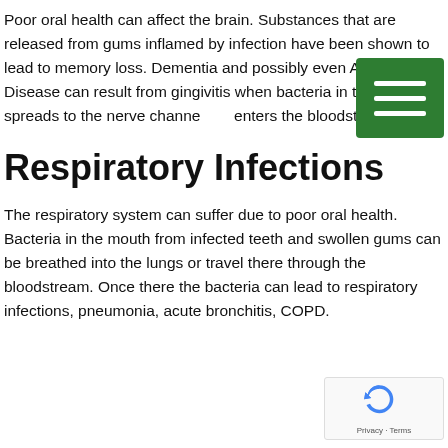Poor oral health can affect the brain. Substances that are released from gums inflamed by infection have been shown to lead to memory loss. Dementia and possibly even Alzheimer's Disease can result from gingivitis when bacteria in the mouth spreads to the nerve channels or enters the bloodstream.
Respiratory Infections
The respiratory system can suffer due to poor oral health. Bacteria in the mouth from infected teeth and swollen gums can be breathed into the lungs or travel there through the bloodstream. Once there the bacteria can lead to respiratory infections, pneumonia, acute bronchitis, COPD.
[Figure (other): Green hamburger menu icon button (three horizontal white lines on green background)]
[Figure (other): Google reCAPTCHA badge with blue recycling-style arrow icon and 'Privacy - Terms' text]